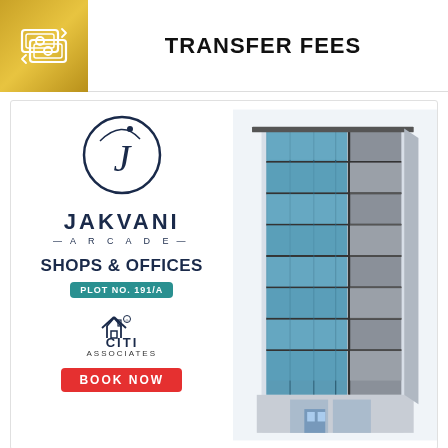[Figure (logo): Gold square icon with cash/money transfer symbol (two stacked rectangles with circle, arrows indicating transfer)]
TRANSFER FEES
[Figure (illustration): Jakvani Arcade promotional card. Left side: circular J logo, JAKVANI ARCADE text, SHOPS & OFFICES heading, PLOT NO. 191/A badge, CITI Associates logo with house icon, BOOK NOW red button. Right side: tall modern commercial building rendering with blue glass facade and dark metal grid panels.]